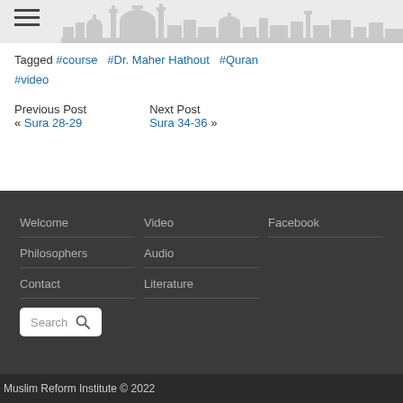Tagged #course #Dr. Maher Hathout #Quran #video
Previous Post « Sura 28-29   Next Post Sura 34-36 »
Welcome
Philosophers
Contact
Video
Audio
Literature
Facebook
Muslim Reform Institute © 2022